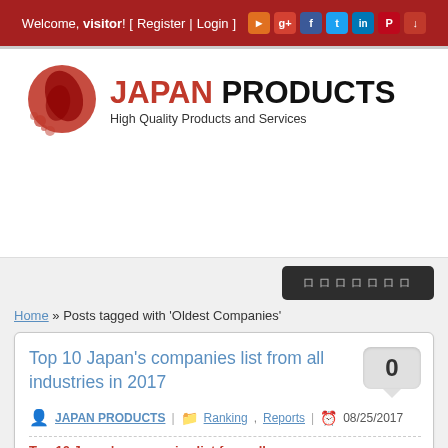Welcome, visitor! [ Register | Login ]
[Figure (logo): Japan Products logo: red circle with Japan map silhouette and bold red/black JAPAN PRODUCTS text with tagline 'High Quality Products and Services']
ロロロロロロロ
Home » Posts tagged with 'Oldest Companies'
Top 10 Japan's companies list from all industries in 2017
JAPAN PRODUCTS | Ranking, Reports | 08/25/2017
Top 10 Japan's companies list from all...